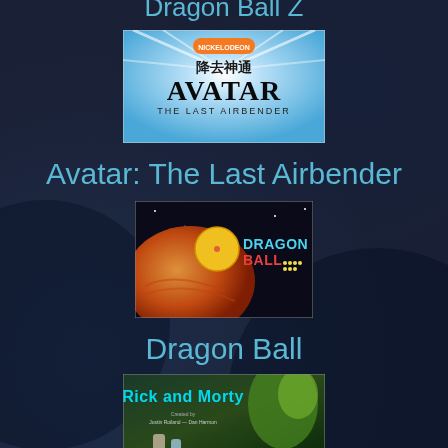Dragon Ball Z
[Figure (photo): Avatar: The Last Airbender title card with Nickelodeon branding and Chinese characters, light blue background with starburst]
Avatar: The Last Airbender
[Figure (photo): Dragon Ball retro video game title screen with orange planet and 'DRAGON BALL' text in blue and red on dark background]
Dragon Ball
[Figure (photo): Rick and Morty animated show title card with colorful alien creatures and characters]